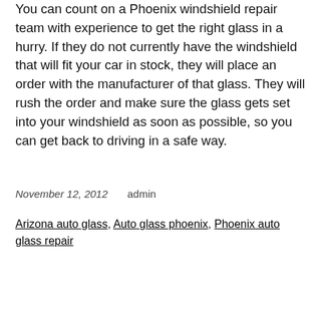You can count on a Phoenix windshield repair team with experience to get the right glass in a hurry. If they do not currently have the windshield that will fit your car in stock, they will place an order with the manufacturer of that glass. They will rush the order and make sure the glass gets set into your windshield as soon as possible, so you can get back to driving in a safe way.
November 12, 2012    admin
Arizona auto glass, Auto glass phoenix, Phoenix auto glass repair